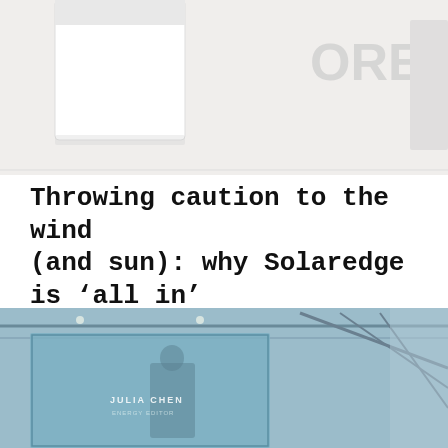[Figure (photo): Top portion of a white cylindrical or box-shaped device with partial text visible in the upper right corner, light gray/white tones]
Throwing caution to the wind (and sun): why Solaredge is ‘all in’ on energy storage
August 5, 2019
We talk about how solar and storage can be competitive with fossil fuels, how Solaredge is maintaining its own competitive advantage as well as some exclusive inside info on the company’s forthcoming residential battery energy storage systems.
[Figure (photo): Indoor exhibition or trade show hall with blue-tinted glass panels, structural steel beams on ceiling, and a large display board featuring a person and text reading JULIA CHEN]